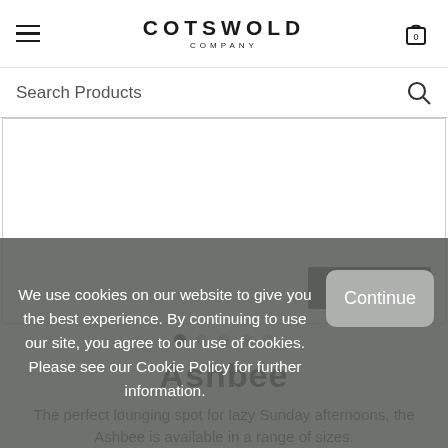COTSWOLD COMPANY
Search Products
[Figure (screenshot): Product image area with Zoom button]
● ○ ○ ○ ○ (carousel dots)
Ashbee
The perfect lounging spot for lazy Sunday afternoons, the Ashbee is available in a range of sizes.
We use cookies on our website to give you the best experience. By continuing to use our site, you agree to our use of cookies. Please see our Cookie Policy for further information.